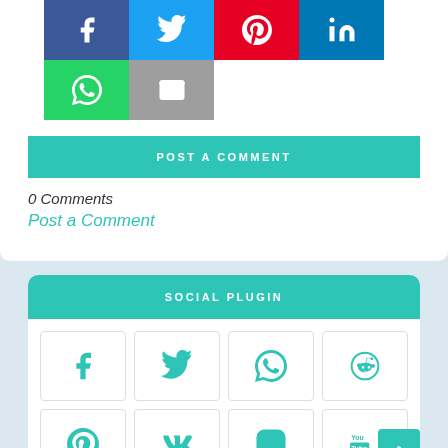[Figure (other): Social share buttons row 1: Facebook (blue), Twitter (light blue), Pinterest (red), LinkedIn (dark blue)]
[Figure (other): Social share buttons row 2: WhatsApp (green), Email (grey)]
POST A COMMENT
0 Comments
Post a Comment
SOCIAL PLUGIN
[Figure (other): Social plugin icons grid: Facebook, Twitter, WhatsApp, Reddit, Pinterest, VK, Instagram, YouTube]